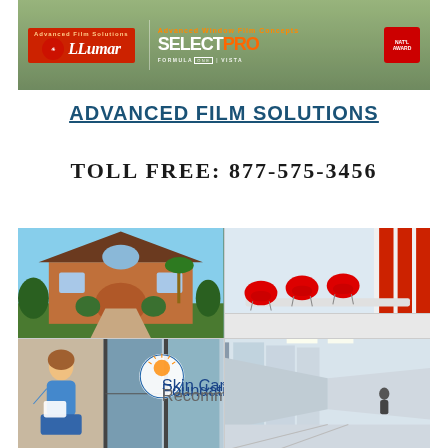[Figure (photo): LLumar SelectPro banner with window film brand logos on a green landscape background]
ADVANCED FILM SOLUTIONS
TOLL FREE: 877-575-3456
[Figure (photo): Collage of four photos: residential home exterior, office with red chairs, window tinting with woman and skin cancer logo, modern glass hallway corridor]